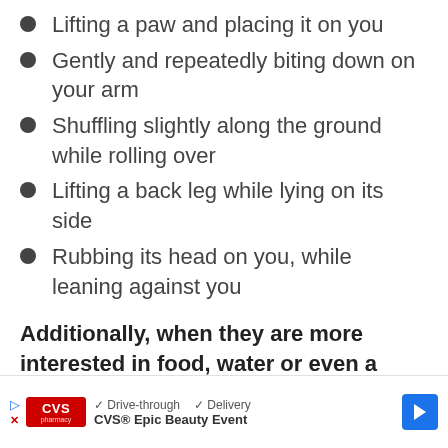Lifting a paw and placing it on you
Gently and repeatedly biting down on your arm
Shuffling slightly along the ground while rolling over
Lifting a back leg while lying on its side
Rubbing its head on you, while leaning against you
Additionally, when they are more interested in food, water or even a little treat, you can expect them to do the following:
Nu[dging you with their nose]
[Figure (screenshot): CVS Pharmacy advertisement overlay showing 'Drive-through' and 'Delivery' checkmarks, CVS Pharmacy logo, and 'CVS® Epic Beauty Event' text with a navigation arrow icon.]